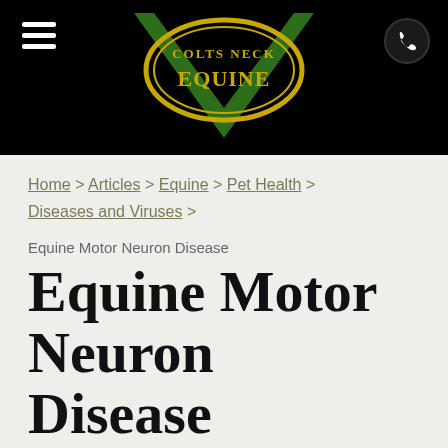[Figure (logo): Colts Neck Equine logo with green V shape and gold oval containing the text COLTS NECK EQUINE on a black background header bar]
Home > Articles > Equine > Pet Health > Diseases and Viruses >
Equine Motor Neuron Disease
Equine Motor Neuron Disease